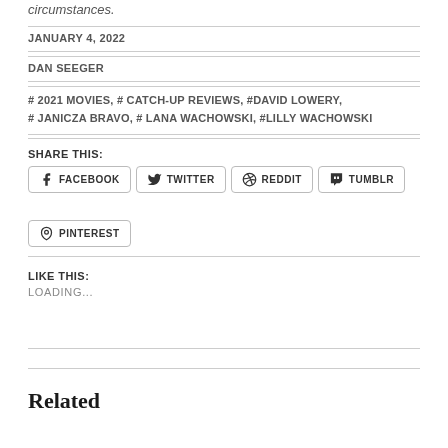circumstances.
JANUARY 4, 2022
DAN SEEGER
# 2021 MOVIES, # CATCH-UP REVIEWS, #DAVID LOWERY, # JANICZA BRAVO, # LANA WACHOWSKI, #LILLY WACHOWSKI
SHARE THIS:
FACEBOOK
TWITTER
REDDIT
TUMBLR
PINTEREST
LIKE THIS:
LOADING...
Related